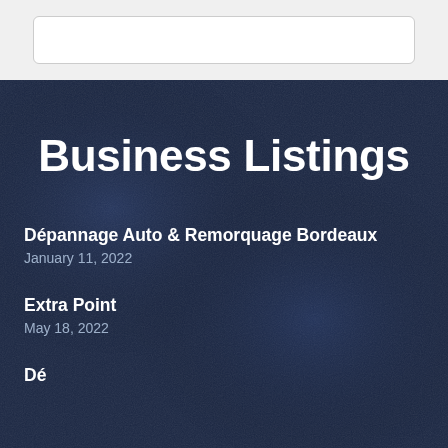[Figure (other): White rounded rectangle box on light gray background at top of page]
Business Listings
Dépannage Auto & Remorquage Bordeaux
January 11, 2022
Extra Point
May 18, 2022
Dé... (partial, cut off)